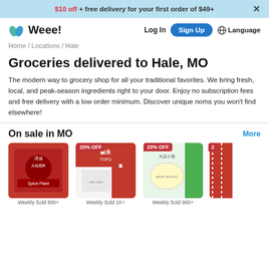$10 off + free delivery for your first order of $49+
[Figure (logo): Weee! grocery delivery app logo with two leaf icons]
Log In  Sign Up  Language
Home / Locations / Hale
Groceries delivered to Hale, MO
The modern way to grocery shop for all your traditional favorites. We bring fresh, local, and peak-season ingredients right to your door. Enjoy no subscription fees and free delivery with a low order minimum. Discover unique noms you won't find elsewhere!
On sale in MO
More
[Figure (photo): Product 1 - hot pot seasoning, Weekly Sold 800+]
[Figure (photo): Product 2 - Tofu with 20% OFF badge, Weekly Sold 1K+]
[Figure (photo): Product 3 - food product with 20% OFF badge, Weekly Sold 900+]
[Figure (photo): Product 4 - partially visible product with red badge]